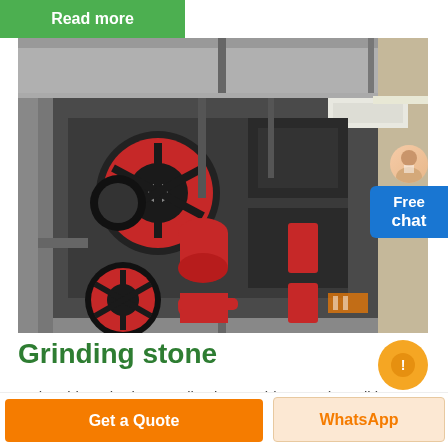Read more
[Figure (photo): Industrial grinding/crushing machinery with red flywheels and black components arranged in a row inside a warehouse or factory setting, viewed from above at an angle.]
Grinding stone
In the video Sharing a Collection David Lovett (Gunditj
Get a Quote
WhatsApp